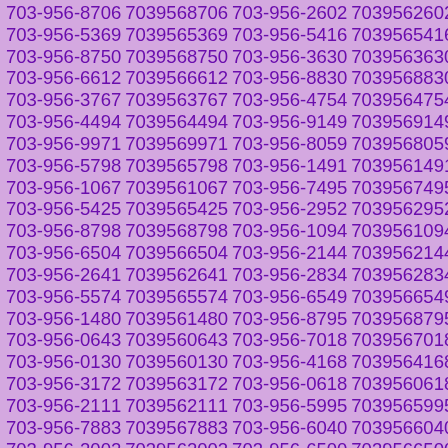703-956-8706 7039568706 703-956-2602 7039562602
703-956-5369 7039565369 703-956-5416 7039565416
703-956-8750 7039568750 703-956-3630 7039563630
703-956-6612 7039566612 703-956-8830 7039568830
703-956-3767 7039563767 703-956-4754 7039564754
703-956-4494 7039564494 703-956-9149 7039569149
703-956-9971 7039569971 703-956-8059 7039568059
703-956-5798 7039565798 703-956-1491 7039561491
703-956-1067 7039561067 703-956-7495 7039567495
703-956-5425 7039565425 703-956-2952 7039562952
703-956-8798 7039568798 703-956-1094 7039561094
703-956-6504 7039566504 703-956-2144 7039562144
703-956-2641 7039562641 703-956-2834 7039562834
703-956-5574 7039565574 703-956-6549 7039566549
703-956-1480 7039561480 703-956-8795 7039568795
703-956-0643 7039560643 703-956-7018 7039567018
703-956-0130 7039560130 703-956-4168 7039564168
703-956-3172 7039563172 703-956-0618 7039560618
703-956-2111 7039562111 703-956-5995 7039565995
703-956-7883 7039567883 703-956-6040 7039566040
703-956-2002 7039562002 703-956-6500 7039566500